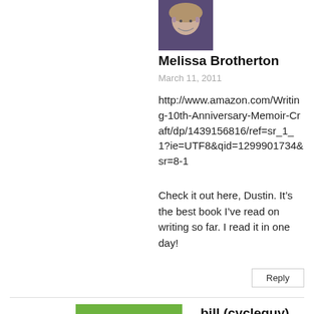[Figure (photo): Profile photo of Melissa Brotherton - a woman with glasses and blonde hair against a dark background]
Melissa Brotherton
March 11, 2011
http://www.amazon.com/Writing-10th-Anniversary-Memoir-Craft/dp/1439156816/ref=sr_1_1?ie=UTF8&qid=1299901734&sr=8-1
Check it out here, Dustin. It’s the best book I’ve read on writing so far. I read it in one day!
Reply
[Figure (illustration): Cartoon caricature avatar of bill (cycleguy) - a bald man with glasses riding a bicycle, illustrated style with green background]
bill (cycleguy)
March 9, 2011
For 38 (39 in June) years, my wife